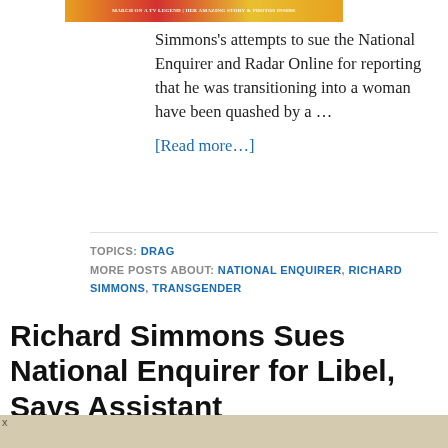[Figure (photo): Magazine cover strip showing colorful tabloid-style text banner]
Simmons's attempts to sue the National Enquirer and Radar Online for reporting that he was transitioning into a woman have been quashed by a …
[Read more…]
TOPICS: DRAG
MORE POSTS ABOUT: NATIONAL ENQUIRER, RICHARD SIMMONS, TRANSGENDER
Richard Simmons Sues National Enquirer for Libel, Says Assistant